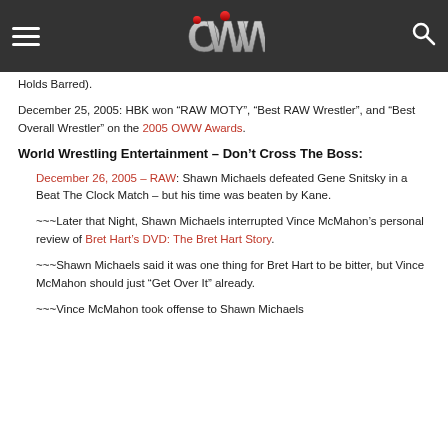OWW
Holds Barred).
December 25, 2005: HBK won “RAW MOTY”, “Best RAW Wrestler”, and “Best Overall Wrestler” on the 2005 OWW Awards.
World Wrestling Entertainment – Don’t Cross The Boss:
December 26, 2005 – RAW: Shawn Michaels defeated Gene Snitsky in a Beat The Clock Match – but his time was beaten by Kane.
~~~Later that Night, Shawn Michaels interrupted Vince McMahon’s personal review of Bret Hart’s DVD: The Bret Hart Story.
~~~Shawn Michaels said it was one thing for Bret Hart to be bitter, but Vince McMahon should just “Get Over It” already.
~~~Vince McMahon took offense to Shawn Michaels